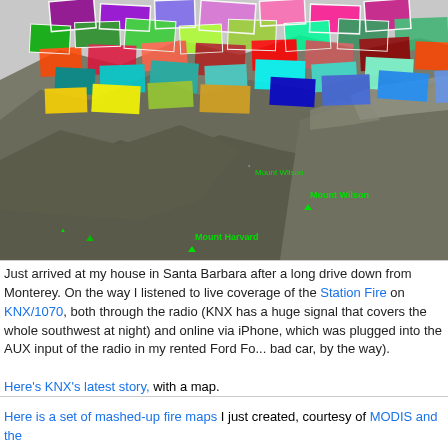[Figure (map): 3D Google Earth satellite view of mountainous terrain (San Gabriel Mountains area) with colorful mashed-up fire map overlays showing various colored parcels. Visible labels: Mount Wilson, Mount Harvard. Colorful MODIS fire map data overlaid on the landscape.]
Just arrived at my house in Santa Barbara after a long drive down from Monterey. On the way I listened to live coverage of the Station Fire on KNX/1070, both through the radio (KNX has a huge signal that covers the whole southwest at night) and online via iPhone, which was plugged into the AUX input of the radio in my rented Ford Focus (not a bad car, by the way).
Here's KNX's latest story, with a map.
Here is a set of mashed-up fire maps I just created, courtesy of MODIS and the Forest Service and Google Earth.